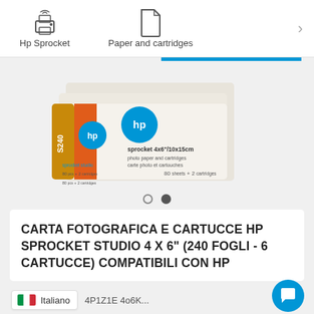Hp Sprocket | Paper and cartridges
[Figure (photo): HP Sprocket Studio 4x6 photo paper and cartridges bundled product box, showing multiple stacked boxes with HP logo and '80 + 2' text, on a light grey background. A blue indicator bar appears along the top of the image.]
[Figure (other): Pagination indicator: two dots, first is an empty circle, second is a filled circle.]
CARTA FOTOGRAFICA E CARTUCCE HP SPROCKET STUDIO 4 X 6" (240 FOGLI - 6 CARTUCCE) COMPATIBILI CON HP
Italiano
4P1Z1E 4o6K...